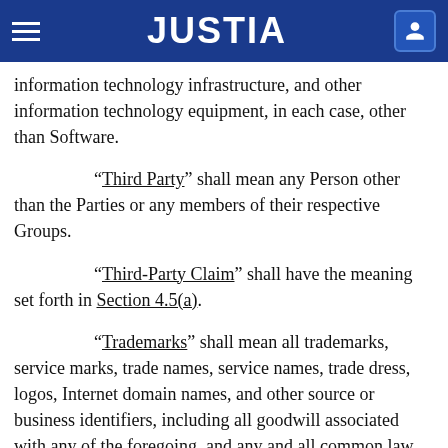JUSTIA
information technology infrastructure, and other information technology equipment, in each case, other than Software.
“Third Party” shall mean any Person other than the Parties or any members of their respective Groups.
“Third-Party Claim” shall have the meaning set forth in Section 4.5(a).
“Trademarks” shall mean all trademarks, service marks, trade names, service names, trade dress, logos, Internet domain names, and other source or business identifiers, including all goodwill associated with any of the foregoing, and any and all common law rights in and to any of the foregoing, registrations and